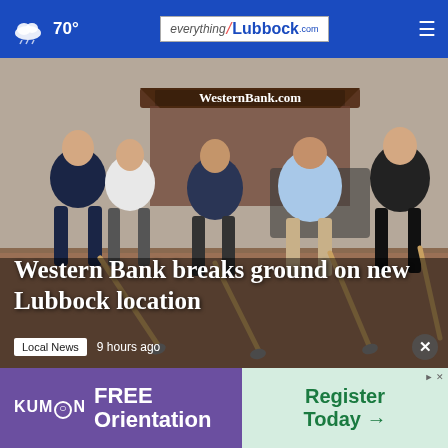70° everything/Lubbock.com
[Figure (photo): Several men in business and casual attire doing a groundbreaking ceremony with shovels on a dirt lot. A Western Bank tent/canopy is visible in the background with 'WesternBank.com' text.]
Western Bank breaks ground on new Lubbock location
Local News  9 hours ago
LUBBOCK, Texas — Western Bank breaks ground on new location... 118th
[Figure (infographic): Kumon FREE Orientation advertisement banner. Left side purple with Kumon logo and 'FREE Orientation' text. Right side light green with 'Register Today →' text.]